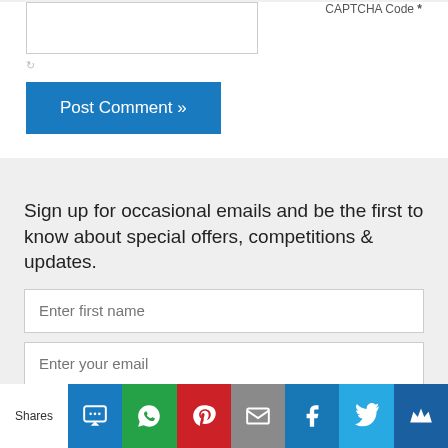CAPTCHA Code *
Post Comment »
Sign up for occasional emails and be the first to know about special offers, competitions & updates.
Enter first name
Enter your email
Subscribe
powered by MailMunch
Shares